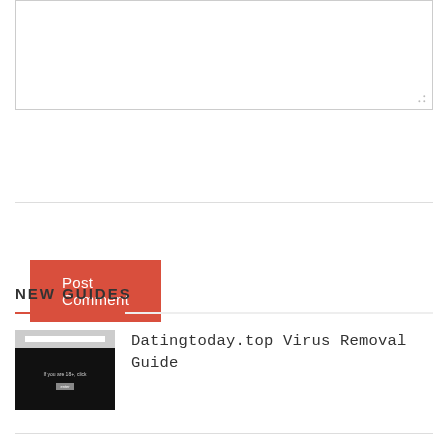[Figure (other): Empty text area comment input box with resize handle at bottom-right]
Post Comment
NEW GUIDES
[Figure (screenshot): Thumbnail screenshot showing a dark webpage with text 'If you are 18+, click' and a button]
Datingtoday.top Virus Removal Guide